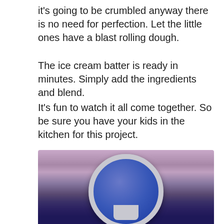it’s going to be crumbled anyway there is no need for perfection. Let the little ones have a blast rolling dough.
The ice cream batter is ready in minutes. Simply add the ingredients and blend.
It’s fun to watch it all come together. So be sure you have your kids in the kitchen for this project.
Are you ready for the perfect summer treat? Blueberry season just got a little sweeter with blueberry pie ice cream.
[Figure (photo): Close-up photo of blueberry ice cream with a blue ice cream maker bowl/dasher visible in the center, surrounded by purple-colored blueberry ice cream]